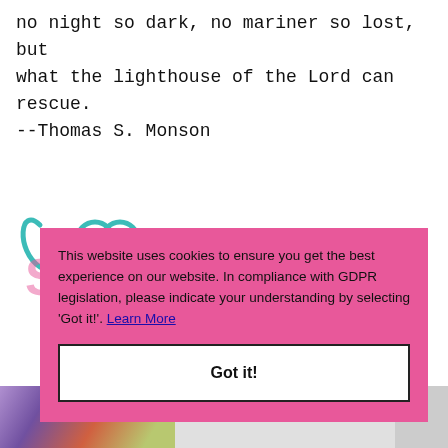no night so dark, no mariner so lost, but
what the lighthouse of the Lord can rescue.
--Thomas S. Monson
[Figure (logo): Stylized cursive/script logo with teal outlines and pink text reading 'Susan' or similar blog name]
This website uses cookies to ensure you get the best experience on our website. In compliance with GDPR legislation, please indicate your understanding by selecting 'Got it!'.  Learn More

Got it!